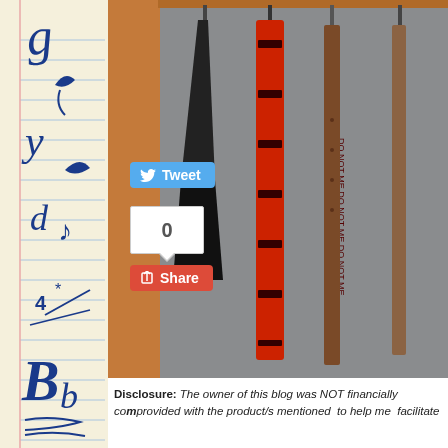[Figure (illustration): Decorative left border with notebook paper lines and hand-drawn blue doodles including cursive letters, plants, and mathematical symbols on a cream/beige background]
[Figure (photo): Photograph of belts and a necktie hanging in a closet. Items include a black tie, a red belt with text pattern, and brown leather belts against a gray/wooden closet background]
Tweet
0
Share
Disclosure: The owner of this blog was NOT financially co... provided with the product/s mentioned to help me facilitate...